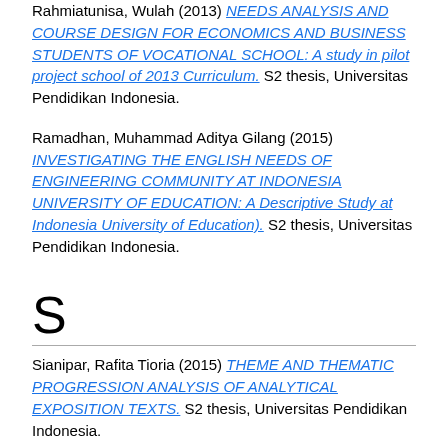Rahmiatunisa, Wulah (2013) NEEDS ANALYSIS AND COURSE DESIGN FOR ECONOMICS AND BUSINESS STUDENTS OF VOCATIONAL SCHOOL: A study in pilot project school of 2013 Curriculum. S2 thesis, Universitas Pendidikan Indonesia.
Ramadhan, Muhammad Aditya Gilang (2015) INVESTIGATING THE ENGLISH NEEDS OF ENGINEERING COMMUNITY AT INDONESIA UNIVERSITY OF EDUCATION: A Descriptive Study at Indonesia University of Education). S2 thesis, Universitas Pendidikan Indonesia.
S
Sianipar, Rafita Tioria (2015) THEME AND THEMATIC PROGRESSION ANALYSIS OF ANALYTICAL EXPOSITION TEXTS. S2 thesis, Universitas Pendidikan Indonesia.